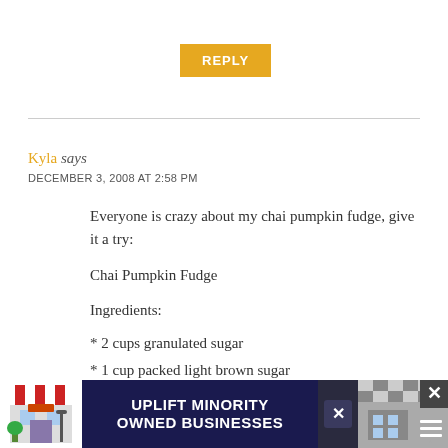REPLY
Kyla says
DECEMBER 3, 2008 AT 2:58 PM
Everyone is crazy about my chai pumpkin fudge, give it a try:
Chai Pumpkin Fudge
Ingredients:
* 2 cups granulated sugar
* 1 cup packed light brown sugar
* 3/4 cup (1 1/2 sticks) butter or margarine
[Figure (screenshot): Advertisement banner: UPLIFT MINORITY OWNED BUSINESSES with storefront illustration]